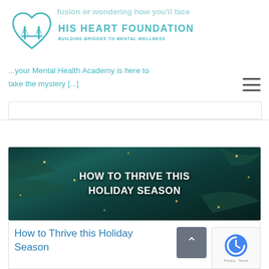[Figure (logo): His Heart Foundation logo — teal heart shape containing a bridge, with text 'HIS HEART FOUNDATION' and tagline 'BUILDING BRIDGES TO MENTAL WELLNESS']
confusion or wondering how you'll face
...your Mental Health Academy is here to take the mystery [...]
[Figure (photo): Dark teal background with pine/fir branches and fairy lights with white bold text reading 'HOW TO THRIVE THIS HOLIDAY SEASON']
How to Thrive this Holiday Season